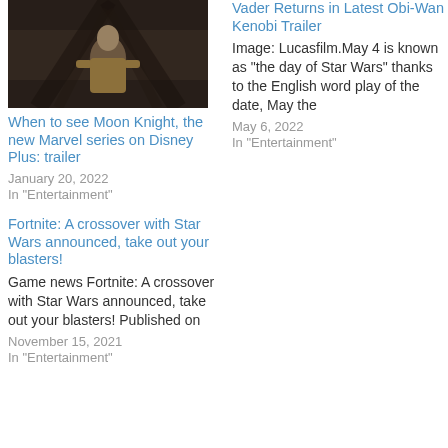[Figure (photo): Man in tan/beige clothing in a dark corridor or tunnel setting]
When to see Moon Knight, the new Marvel series on Disney Plus: trailer
January 20, 2022
In "Entertainment"
Vader Returns in Latest Obi-Wan Kenobi Trailer
Image: Lucasfilm.May 4 is known as "the day of Star Wars" thanks to the English word play of the date, May the
May 6, 2022
In "Entertainment"
Fortnite: A crossover with Star Wars announced, take out your blasters!
Game news Fortnite: A crossover with Star Wars announced, take out your blasters! Published on
November 15, 2021
In "Entertainment"